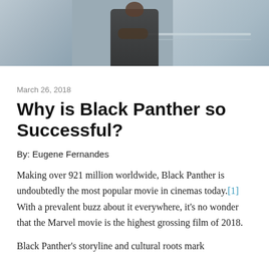[Figure (photo): Photo of a person in a dark sweater standing near windows, viewed from chest level]
March 26, 2018
Why is Black Panther so Successful?
By: Eugene Fernandes
Making over 921 million worldwide, Black Panther is undoubtedly the most popular movie in cinemas today.[1] With a prevalent buzz about it everywhere, it's no wonder that the Marvel movie is the highest grossing film of 2018.
Black Panther's storyline and cultural roots mark